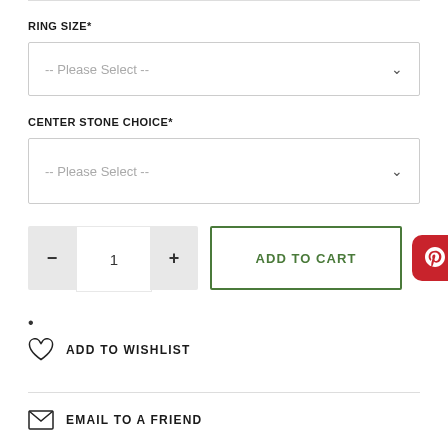RING SIZE*
-- Please Select --
CENTER STONE CHOICE*
-- Please Select --
1
ADD TO CART
•
ADD TO WISHLIST
EMAIL TO A FRIEND